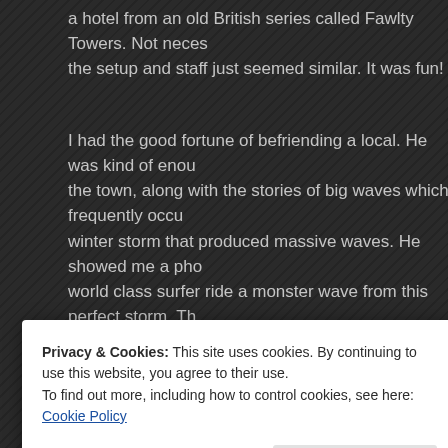a hotel from an old British series called Fawlty Towers. Not neces... the setup and staff just seemed similar. It was fun!
I had the good fortune of befriending a local. He was kind of enou... the town, along with the stories of big waves which frequently occu... winter storm that produced massive waves. He showed me a pho... world class surfer ride a monster wave from this perfect storm. Th... to the massive wall of water baring down on him. He claimed the w... ranged from 30-60 feet. While a boon for surfers, the storm proved... and businesses along the water front. Much of the boardwalk was... be rebuilt. He pointed out the difference, between the long section... of cut stone imported from the countryside, and the new boardwal... evident he was saddened the boardwalk couldn't be restored to th...
Privacy & Cookies: This site uses cookies. By continuing to use this website, you agree to their use.
To find out more, including how to control cookies, see here: Cookie Policy
Close and accept